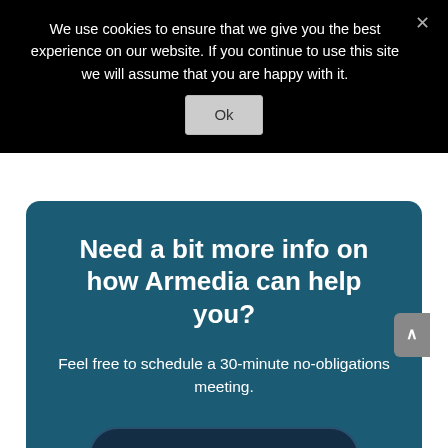We use cookies to ensure that we give you the best experience on our website. If you continue to use this site we will assume that you are happy with it.
Ok
Need a bit more info on how Armedia can help you?
Feel free to schedule a 30-minute no-obligations meeting.
Pick A Meeting Slot